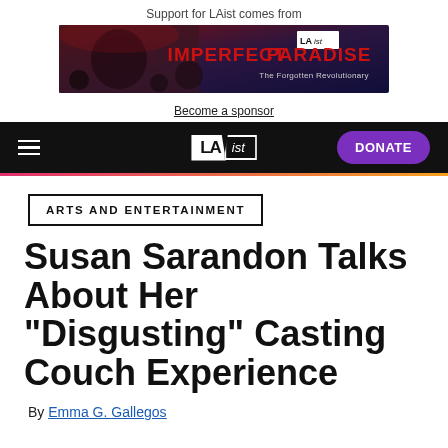Support for LAist comes from
[Figure (photo): Advertisement banner for Imperfect Paradise podcast with dark red/blue background and bold red text reading IMPERFECT PARADISE - The Forgotten Revolutionary]
Become a sponsor
LAist navigation bar with hamburger menu, LAist logo, and DONATE button
ARTS AND ENTERTAINMENT
Susan Sarandon Talks About Her "Disgusting" Casting Couch Experience
By Emma G. Gallegos